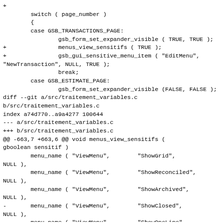+
        switch ( page_number )
        {
        case GSB_TRANSACTIONS_PAGE:
                gsb_form_set_expander_visible ( TRUE, TRUE );
+               menus_view_sensitifs ( TRUE );
+               gsb_gui_sensitive_menu_item ( "EditMenu",
"NewTransaction", NULL, TRUE );
                break;
        case GSB_ESTIMATE_PAGE:
                gsb_form_set_expander_visible (FALSE, FALSE );
diff --git a/src/traitement_variables.c
b/src/traitement_variables.c
index a74d770..a9a4277 100644
--- a/src/traitement_variables.c
+++ b/src/traitement_variables.c
@@ -663,7 +663,6 @@ void menus_view_sensitifs (
gboolean sensitif )
        menu_name ( "ViewMenu",        "ShowGrid",
NULL ),
        menu_name ( "ViewMenu",        "ShowReconciled",
NULL ),
        menu_name ( "ViewMenu",        "ShowArchived",
NULL ),
-       menu_name ( "ViewMenu",        "ShowClosed",
NULL ),
        menu_name ( "ViewMenu",        "ShowOneLine",
NULL ),
        menu_name ( "ViewMenu",        "ShowTwoLines",
NULL ),